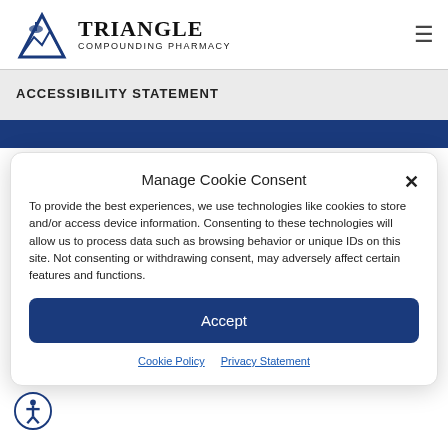TRIANGLE COMPOUNDING PHARMACY
ACCESSIBILITY STATEMENT
Manage Cookie Consent
To provide the best experiences, we use technologies like cookies to store and/or access device information. Consenting to these technologies will allow us to process data such as browsing behavior or unique IDs on this site. Not consenting or withdrawing consent, may adversely affect certain features and functions.
Accept
Cookie Policy  Privacy Statement